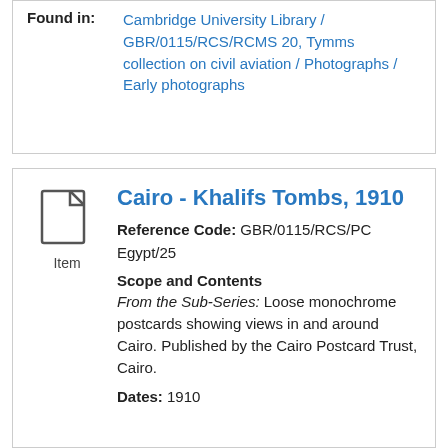Found in: Cambridge University Library / GBR/0115/RCS/RCMS 20, Tymms collection on civil aviation / Photographs / Early photographs
Cairo - Khalifs Tombs, 1910
Reference Code: GBR/0115/RCS/PC Egypt/25
Scope and Contents
From the Sub-Series: Loose monochrome postcards showing views in and around Cairo. Published by the Cairo Postcard Trust, Cairo.
Dates: 1910